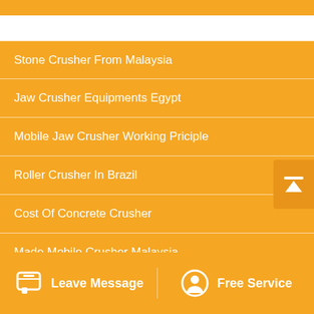Stone Crusher From Malaysia
Jaw Crusher Equipments Egypt
Mobile Jaw Crusher Working Priciple
Roller Crusher In Brazil
Cost Of Concrete Crusher
Made Mobile Crusher Malaysia
Quarry Mining Equipment Dealers Distributors In Kenya
Cone Crusher Sales In Canada
Leave Message   Free Service